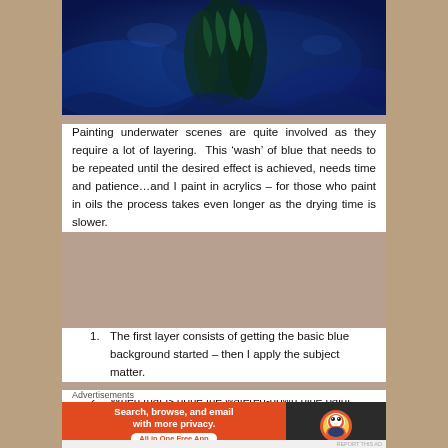[Figure (photo): Underwater painting showing blue tones with dark green aquatic plants and coral-like forms against a deep blue background.]
Painting underwater scenes are quite involved as they require a lot of layering. This ‘wash’ of blue that needs to be repeated until the desired effect is achieved, needs time and patience…and I paint in acrylics – for those who paint in oils the process takes even longer as the drying time is slower.
The first layer consists of getting the basic blue background started – then I apply the subject matter.
When that is done the watered-down blue paint wash layering begins until the right monotone colour is produced and ready to go out into the
Advertisements
[Figure (screenshot): DuckDuckGo advertisement banner: orange left panel with text 'Search, browse, and email with more privacy. All in One Free App' and dark right panel with DuckDuckGo duck logo.]